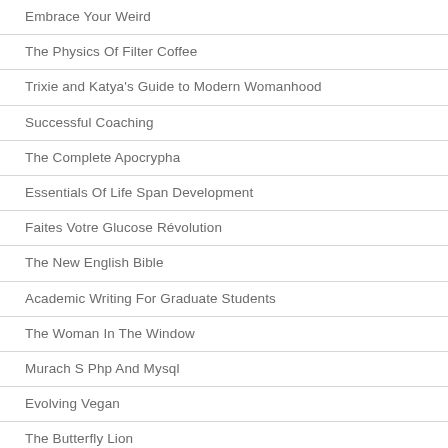Embrace Your Weird
The Physics Of Filter Coffee
Trixie and Katya's Guide to Modern Womanhood
Successful Coaching
The Complete Apocrypha
Essentials Of Life Span Development
Faites Votre Glucose Révolution
The New English Bible
Academic Writing For Graduate Students
The Woman In The Window
Murach S Php And Mysql
Evolving Vegan
The Butterfly Lion
Sleeping Beauties